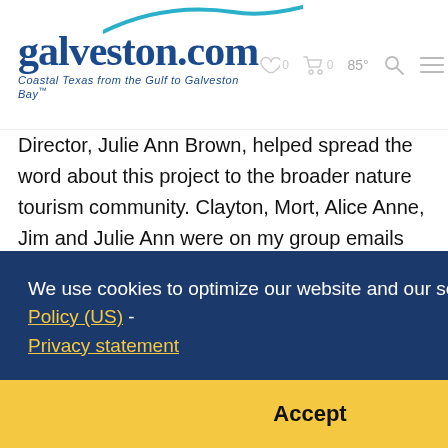[Figure (logo): galveston.com logo with teal swish above, tagline 'Coastal Texas from the Gulf to Galveston Bay']
Director, Julie Ann Brown, helped spread the word about this project to the broader nature tourism community. Clayton, Mort, Alice Anne, Jim and Julie Ann were on my group emails when I nailed some exciting new species or had a particularly cool day birding. David Sarkozi and Mike Austin provided guidance on species identification as eBird reviewers. They caught several mistakes in photographs I'd [continued] ...after... the avian diversity that the Moody Gardens property
We use cookies to optimize our website and our service. Cookie Policy (US) - Privacy statement
Accept